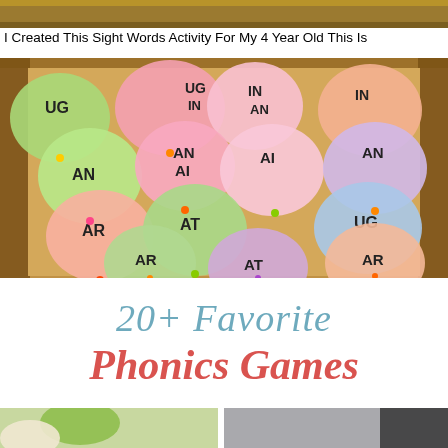[Figure (photo): Top portion of a brown/wooden surface image, partially cropped]
I Created This Sight Words Activity For My 4 Year Old This Is
[Figure (photo): Colorful water balloons in a cardboard box, each labeled with phonics word families: UG, IN, AN, AT, AR, AN, AT, AR, UG, AN, AR, AT]
[Figure (illustration): Text graphic reading '20+ Favorite Phonics Games' in blue and red italic fonts on white background]
[Figure (photo): Bottom portion showing partial images of phonics game activities]